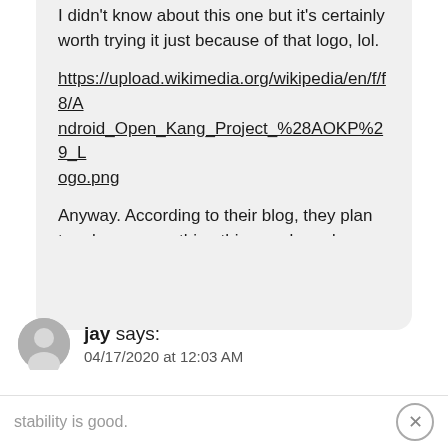I didn't know about this one but it's certainly worth trying it just because of that logo, lol.
https://upload.wikimedia.org/wikipedia/en/f/f8/Android_Open_Kang_Project_%28AOKP%29_Logo.png
Anyway. According to their blog, they plan to release something this year based on LOS16 (just in time).
jay says: 04/17/2020 at 12:03 AM
stability is good.